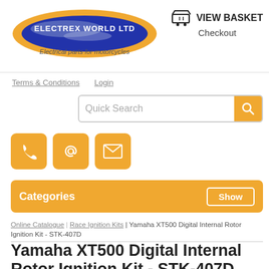[Figure (logo): Electrex World Ltd logo - oval shape with blue and orange colors, text 'ELECTREX WORLD LTD' and tagline 'Electrical parts for motorcycles']
VIEW BASKET
Checkout
Terms & Conditions   Login
[Figure (screenshot): Quick Search input box with orange search button]
[Figure (infographic): Three orange square icon buttons: phone, at-symbol, envelope]
Categories   Show
Online Catalogue | Race Ignition Kits | Yamaha XT500 Digital Internal Rotor Ignition Kit - STK-407D
Yamaha XT500 Digital Internal Rotor Ignition Kit - STK-407D